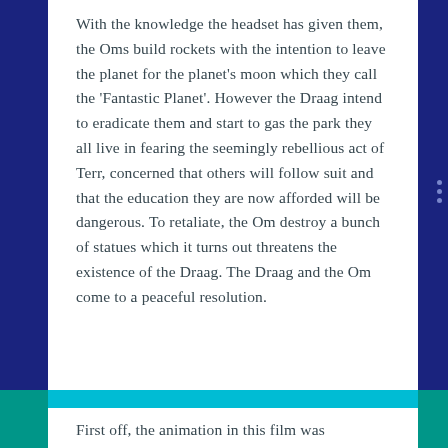With the knowledge the headset has given them, the Oms build rockets with the intention to leave the planet for the planet's moon which they call the 'Fantastic Planet'. However the Draag intend to eradicate them and start to gas the park they all live in fearing the seemingly rebellious act of Terr, concerned that others will follow suit and that the education they are now afforded will be dangerous. To retaliate, the Om destroy a bunch of statues which it turns out threatens the existence of the Draag. The Draag and the Om come to a peaceful resolution.
First off, the animation in this film was incredible. You don't see films made like this any more, really. The surreal, vivid colours and imaginative creatures, plants, landscapes and